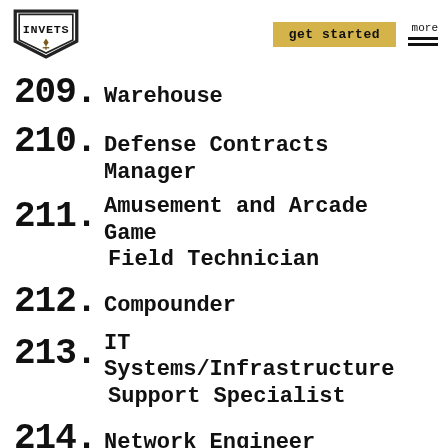INVETS | get started | more
209. Warehouse
210. Defense Contracts Manager
211. Amusement and Arcade Game Field Technician
212. Compounder
213. IT Systems/Infrastructure Support Specialist
214. Network Engineer